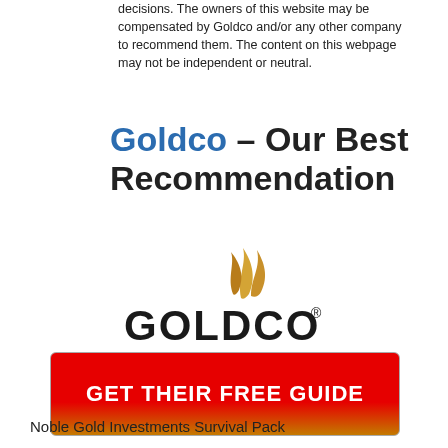decisions. The owners of this website may be compensated by Goldco and/or any other company to recommend them. The content on this webpage may not be independent or neutral.
Goldco – Our Best Recommendation
[Figure (logo): Goldco logo with stylized flame/wing mark above the text GOLDCO in large dark serif font with registered trademark symbol]
[Figure (other): Red gradient button with white bold text reading GET THEIR FREE GUIDE]
Noble Gold Investments Survival Pack